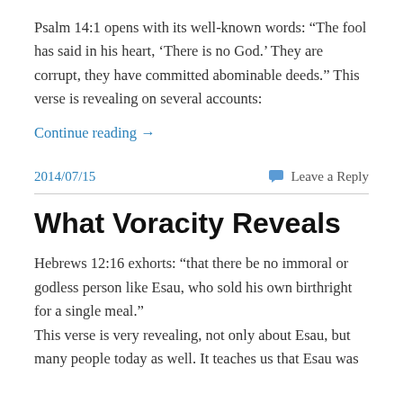Psalm 14:1 opens with its well-known words: “The fool has said in his heart, ‘There is no God.’ They are corrupt, they have committed abominable deeds.” This verse is revealing on several accounts:
Continue reading →
2014/07/15
Leave a Reply
What Voracity Reveals
Hebrews 12:16 exhorts: “that there be no immoral or godless person like Esau, who sold his own birthright for a single meal.”
This verse is very revealing, not only about Esau, but many people today as well. It teaches us that Esau was